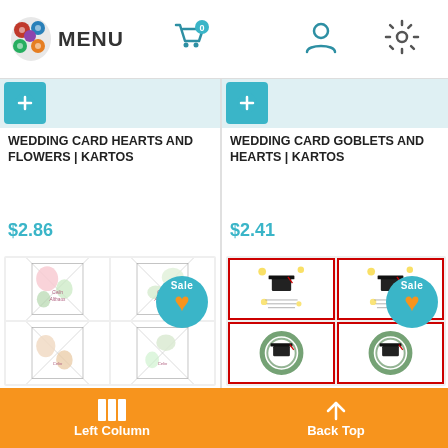[Figure (screenshot): E-commerce website header with logo of colorful spools, MENU text, shopping cart icon with 0 badge, user icon, and settings gear icon]
[Figure (screenshot): Add to cart button strip for left product (Wedding Card Hearts and Flowers)]
WEDDING CARD HEARTS AND FLOWERS | KARTOS
$2.86
[Figure (photo): Wedding card with floral design showing envelope and card with pink/green flowers, Sale badge with orange heart]
[Figure (screenshot): Add to cart button strip for right product (Wedding Card Goblets and Hearts)]
WEDDING CARD GOBLETS AND HEARTS | KARTOS
$2.41
[Figure (photo): Graduation card with cap and flowers design, red border, Sale badge with orange heart]
Left Column   Back Top